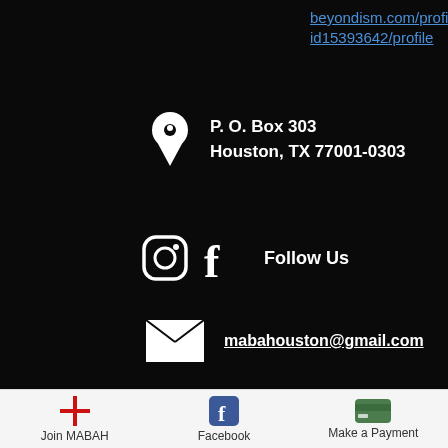beyondism.com/profile/harmonyketchersid15393642/profile
P. O. Box 303
Houston, TX 77001-0303
Follow Us
mabahouston@gmail.com
Copyright © 2018 Mexican American Bar Association of Houston. All Rights Reserved.
Join MABAH   Facebook   Make a Payment